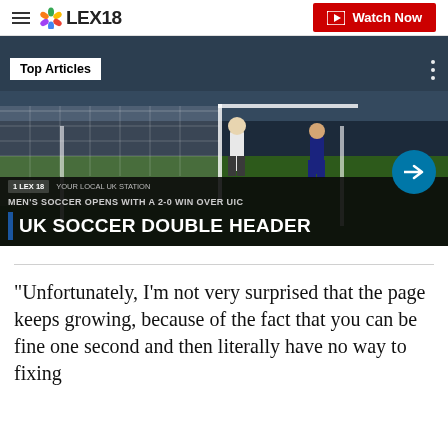LEX18
[Figure (screenshot): Video thumbnail showing a soccer game with players near a goal net at night. Lower bar reads 'MEN'S SOCCER OPENS WITH A 2-0 WIN OVER UIC' and 'UK SOCCER DOUBLE HEADER'. A 'Top Articles' badge overlays the top left.]
"Unfortunately, I'm not very surprised that the page keeps growing, because of the fact that you can be fine one second and then literally have no way to fixing